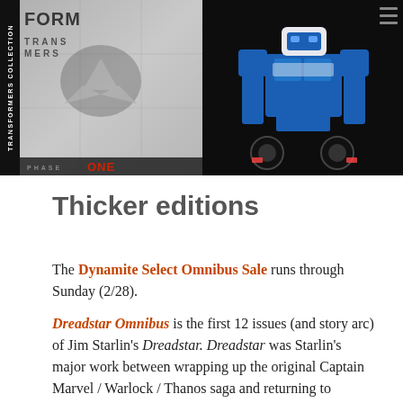[Figure (photo): Left: Transformers Collection Phase One book/comic cover with gray textured background, Decepticon symbol, 'TRANSFORMERS' text along spine, and 'PHASE ONE' at bottom. Right: Blue and white Transformers robot toy (appears to be Blurr or similar character) standing against black background, with hamburger menu icon in top right.]
Thicker editions
The Dynamite Select Omnibus Sale runs through Sunday (2/28).
Dreadstar Omnibus is the first 12 issues (and story arc) of Jim Starlin's Dreadstar. Dreadstar was Starlin's major work between wrapping up the original Captain Marvel / Warlock / Thanos saga and returning to Marvel (proper) for Silver Surfer